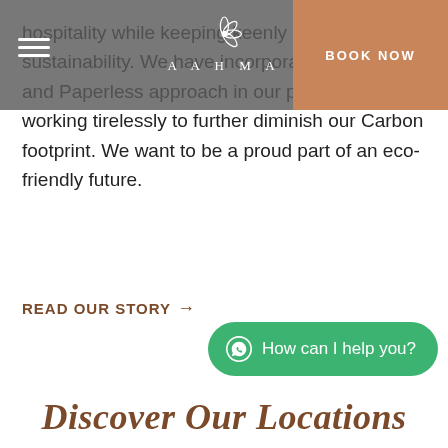[Figure (screenshot): Navigation bar with hamburger menu, AAHMA logo, and BOOK NOW button on brownish-orange background]
hospitality while keeping keenly in step with sustainability. We have incorporated a Plastic and Paperless approach in our practice and are working tirelessly to further diminish our Carbon footprint. We want to be a proud part of an eco-friendly future.
READ OUR STORY →
How can I help you?
Discover Our Locations